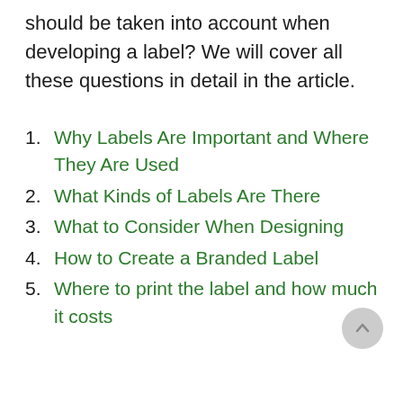should be taken into account when developing a label? We will cover all these questions in detail in the article.
1. Why Labels Are Important and Where They Are Used
2. What Kinds of Labels Are There
3. What to Consider When Designing
4. How to Create a Branded Label
5. Where to print the label and how much it costs